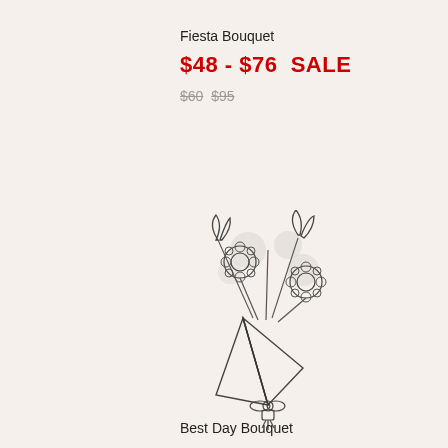Fiesta Bouquet
$48 - $76  SALE
$60  $95
[Figure (illustration): Line drawing of a flower bouquet with tulips, sunflowers, and foliage wrapped in paper and tied with a bow at the base]
Best Day Bouquet